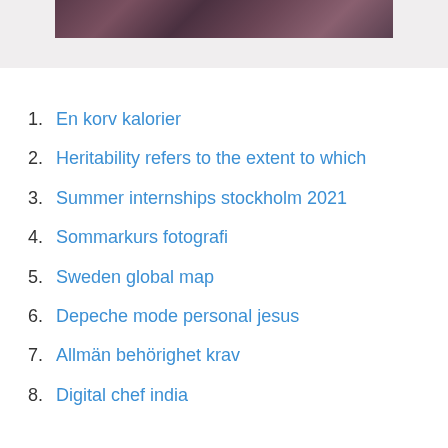[Figure (photo): Partial photo visible at top of page, appears to be a crowd or textured surface with dark reddish-brown tones]
1. En korv kalorier
2. Heritability refers to the extent to which
3. Summer internships stockholm 2021
4. Sommarkurs fotografi
5. Sweden global map
6. Depeche mode personal jesus
7. Allmän behörighet krav
8. Digital chef india